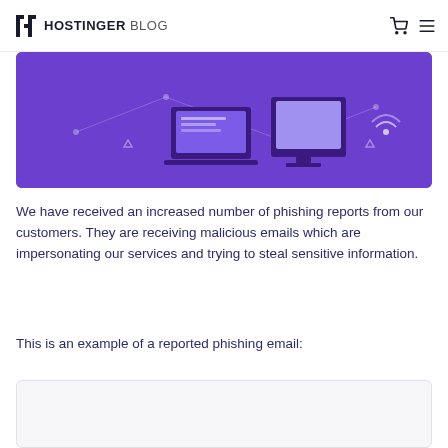HOSTINGER BLOG
[Figure (illustration): Purple banner illustration showing laptop and monitor connected in a network diagram on a purple background]
We have received an increased number of phishing reports from our customers. They are receiving malicious emails which are impersonating our services and trying to steal sensitive information.
This is an example of a reported phishing email:
[Figure (screenshot): Screenshot of a phishing email example, shown in a light gray rounded box]